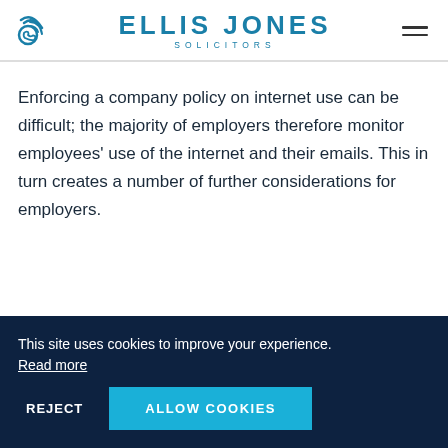ELLIS JONES SOLICITORS
Enforcing a company policy on internet use can be difficult; the majority of employers therefore monitor employees' use of the internet and their emails. This in turn creates a number of further considerations for employers.
This site uses cookies to improve your experience. Read more
REJECT   ALLOW COOKIES